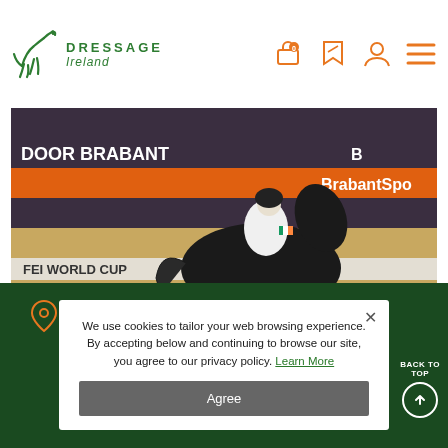Dressage Ireland — navigation header with logo, cart, tag, user, and menu icons
[Figure (photo): A horse and rider competing in dressage at the FEI World Cup Dressage event at Indoor Brabant. The black horse is captured mid-trot against a sandy arena floor. Sponsor banners read 'DOOR BRABANT', 'BrabantSport', 'FEI WORLD CUP DRESSAGE' in the background.]
Dressage Ireland Clg
We use cookies to tailor your web browsing experience. By accepting below and continuing to browse our site, you agree to our privacy policy. Learn More
Agree